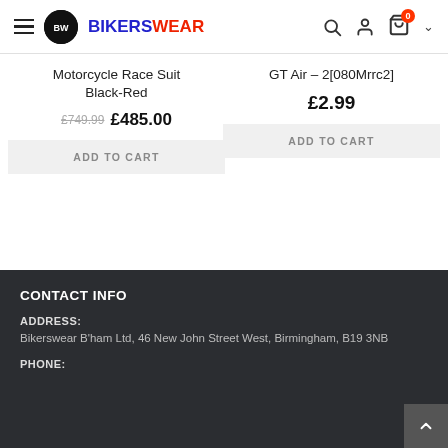BikerWear - navigation header with logo, search, account, and cart icons
Motorcycle Race Suit Black-Red
£749.99  £485.00
ADD TO CART
GT Air - 2[080Mrrc2]
£2.99
ADD TO CART
CONTACT INFO
ADDRESS:
Bikerswear B'ham Ltd, 46 New John Street West, Birmingham, B19 3NB
PHONE: